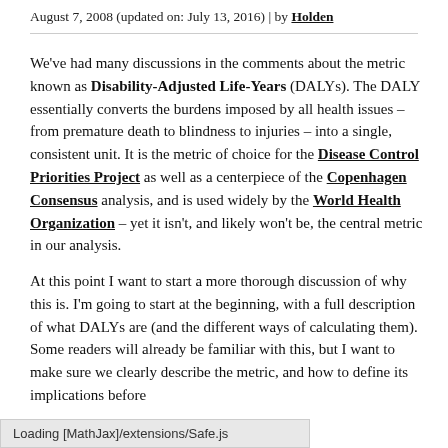August 7, 2008 (updated on: July 13, 2016) | by Holden
We've had many discussions in the comments about the metric known as Disability-Adjusted Life-Years (DALYs). The DALY essentially converts the burdens imposed by all health issues – from premature death to blindness to injuries – into a single, consistent unit. It is the metric of choice for the Disease Control Priorities Project as well as a centerpiece of the Copenhagen Consensus analysis, and is used widely by the World Health Organization – yet it isn't, and likely won't be, the central metric in our analysis.
At this point I want to start a more thorough discussion of why this is. I'm going to start at the beginning, with a full description of what DALYs are (and the different ways of calculating them). Some readers will already be familiar with this, but I want to make sure we clearly describe the metric, and how to define its implications before
Loading [MathJax]/extensions/Safe.js